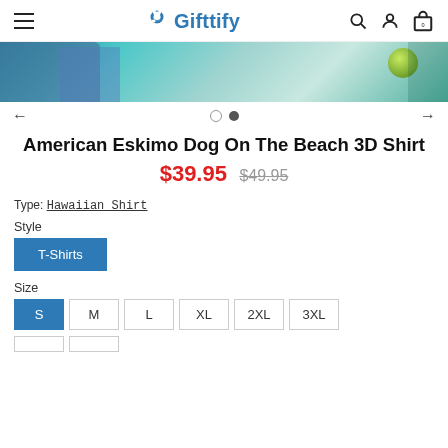Gifttify — navigation header with hamburger menu, logo, search, user, and cart icons
[Figure (photo): Product image strip showing a beach scene with jeans and a green ball on teal/turquoise background]
← ○ • →  (carousel navigation with two dots, left and right arrows)
American Eskimo Dog On The Beach 3D Shirt
$39.95  $49.95
Type: Hawaiian Shirt
Style
T-Shirts
Size
S  M  L  XL  2XL  3XL